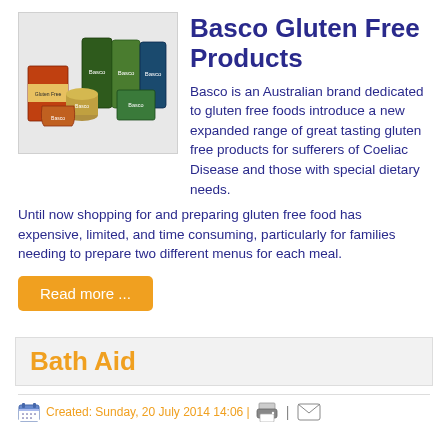[Figure (photo): Photo of multiple Basco branded gluten free food product packages arranged together]
Basco Gluten Free Products
Basco is an Australian brand dedicated to gluten free foods introduce a new expanded range of great tasting gluten free products for sufferers of Coeliac Disease and those with special dietary needs.
Until now shopping for and preparing gluten free food has expensive, limited, and time consuming, particularly for families needing to prepare two different menus for each meal.
Read more ...
Bath Aid
Created: Sunday, 20 July 2014 14:06 |